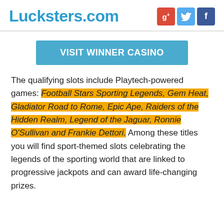Lucksters.com
VISIT WINNER CASINO
The qualifying slots include Playtech-powered games: Football Stars Sporting Legends, Gem Heat, Gladiator Road to Rome, Epic Ape, Raiders of the Hidden Realm, Legend of the Jaguar, Ronnie O’Sullivan and Frankie Dettori. Among these titles you will find sport-themed slots celebrating the legends of the sporting world that are linked to progressive jackpots and can award life-changing prizes.